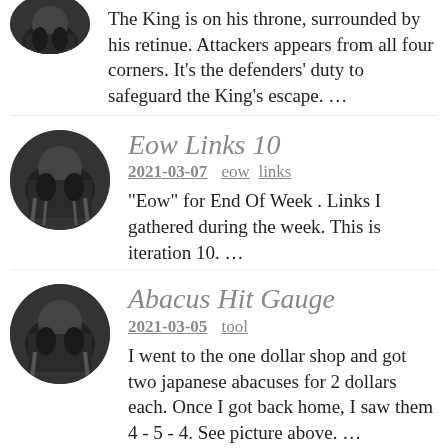The King is on his throne, surrounded by his retinue. Attackers appears from all four corners. It's the defenders' duty to safeguard the King's escape. …
Eow Links 10
2021-03-07  eow  links
"Eow" for End Of Week . Links I gathered during the week. This is iteration 10. …
Abacus Hit Gauge
2021-03-05  tool
I went to the one dollar shop and got two japanese abacuses for 2 dollars each. Once I got back home, I saw them 4 - 5 - 4. See picture above. …
…